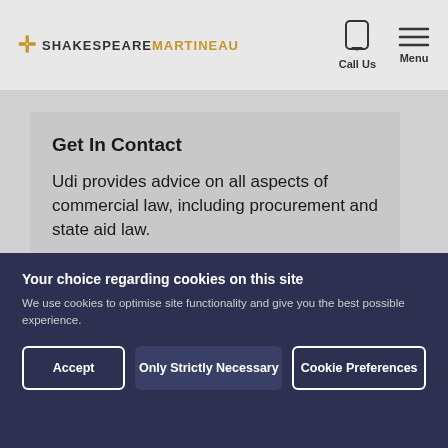SHAKESPEAREMARTINEAU — Call Us | Menu
Get In Contact
Udi provides advice on all aspects of commercial law, including procurement and state aid law.
Get In Touch With Uddalak
Your choice regarding cookies on this site
We use cookies to optimise site functionality and give you the best possible experience.
Accept
Only Strictly Necessary
Cookie Preferences